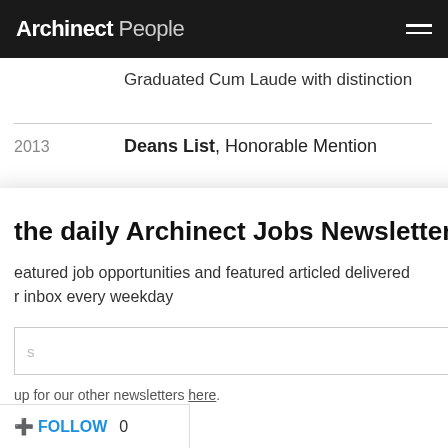Archinect People
Graduated Cum Laude with distinction
2013 Deans List, Honorable Mention
[Figure (screenshot): Modal popup for the daily Archinect Jobs Newsletter with a subscribe form and red Subscribe button]
Podium, ( +5 years) InDesign, (+ 10 Years) Microsoft Office Suite (+5 years) windows movie maker, & 3ds Max, &Rhino, and Specification, FF&E Selection and Specification, (+ 2yrs) Construction Drawings, Book +
+ FOLLOW  0